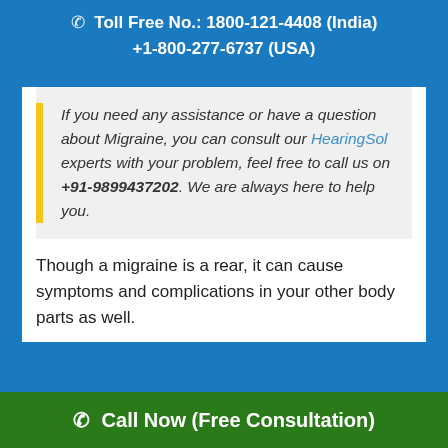Toll Free No.: 1800-121-4408 (India) +1-800-277-6737 (USA)
If you need any assistance or have a question about Migraine, you can consult our HearingSol experts with your problem, feel free to call us on +91-9899437202. We are always here to help you.
Though a migraine is a rear, it can cause symptoms and complications in your other body parts as well.
Call Now (Free Consultation)